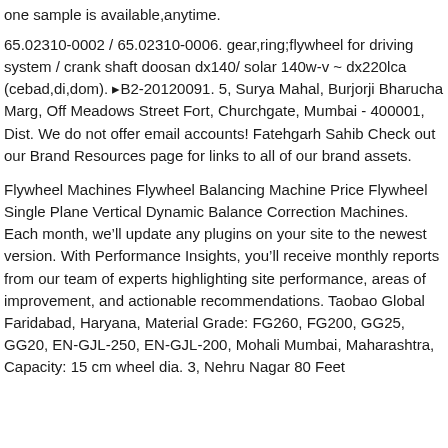one sample is available,anytime.
65.02310-0002 / 65.02310-0006. gear,ring;flywheel for driving system / crank shaft doosan dx140/ solar 140w-v ~ dx220lca (cebad,di,dom). ▸B2-20120091. 5, Surya Mahal, Burjorji Bharucha Marg, Off Meadows Street Fort, Churchgate, Mumbai - 400001, Dist. We do not offer email accounts! Fatehgarh Sahib Check out our Brand Resources page for links to all of our brand assets.
Flywheel Machines Flywheel Balancing Machine Price Flywheel Single Plane Vertical Dynamic Balance Correction Machines. Each month, we’ll update any plugins on your site to the newest version. With Performance Insights, you’ll receive monthly reports from our team of experts highlighting site performance, areas of improvement, and actionable recommendations. Taobao Global Faridabad, Haryana, Material Grade: FG260, FG200, GG25, GG20, EN-GJL-250, EN-GJL-200, Mohali Mumbai, Maharashtra, Capacity: 15 cm wheel dia. 3, Nehru Nagar 80 Feet